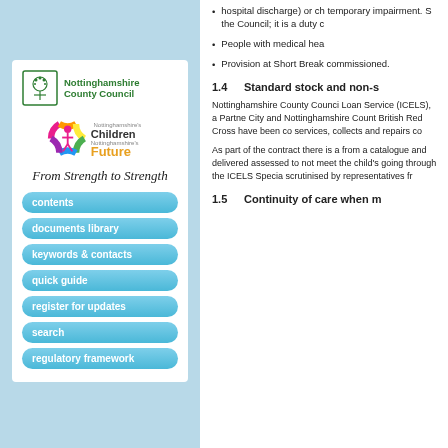[Figure (logo): Nottinghamshire County Council logo with tree emblem and green text]
[Figure (logo): Nottinghamshire's Children Nottinghamshire's Future circular logo with colourful segments and figure]
From Strength to Strength
contents
documents library
keywords & contacts
quick guide
register for updates
search
regulatory framework
hospital discharge) or ch temporary impairment. S the Council; it is a duty c
People with medical hea
Provision at Short Break commissioned.
1.4    Standard stock and non-s
Nottinghamshire County Counci Loan Service (ICELS), a Partne City and Nottinghamshire Count British Red Cross have been co services, collects and repairs co
As part of the contract there is a from a catalogue and delivered assessed to not meet the child's going through the ICELS Specia scrutinised by representatives fr
1.5    Continuity of care when m